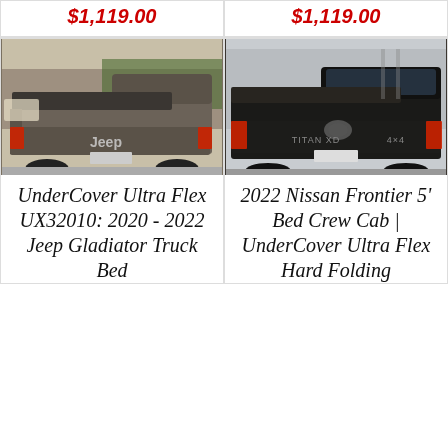$1,119.00
$1,119.00
[Figure (photo): Rear view of a gray Jeep Gladiator pickup truck with a hard folding tonneau cover installed on the truck bed, parked in a lot.]
[Figure (photo): Rear view of a black Nissan Titan XD pickup truck with a hard folding tonneau cover installed on the truck bed.]
UnderCover Ultra Flex UX32010: 2020 - 2022 Jeep Gladiator Truck Bed
2022 Nissan Frontier 5' Bed Crew Cab | UnderCover Ultra Flex Hard Folding